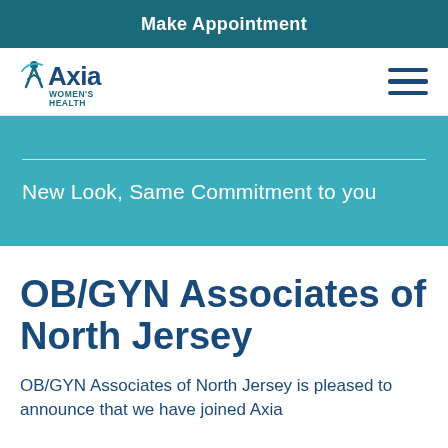Make Appointment
[Figure (logo): Axia Women's Health logo with stylized figure icon]
New Look, Same Commitment to you
OB/GYN Associates of North Jersey
OB/GYN Associates of North Jersey is pleased to announce that we have joined Axia